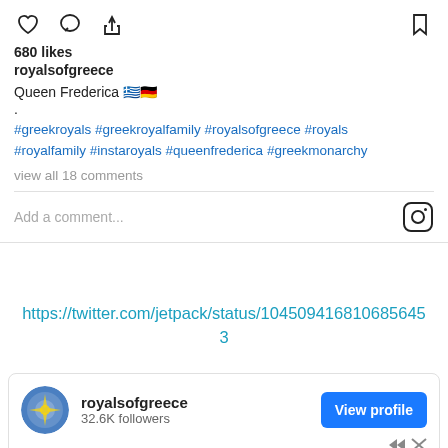[Figure (screenshot): Instagram post interaction icons: heart, comment bubble, share, and bookmark]
680 likes
royalsofgreece
Queen Frederica 🇬🇷🇩🇪
.
#greekroyals #greekroyalfamily #royalsofgreece #royals #royalfamily #instaroyals #queenfrederica #greekmonarchy
view all 18 comments
Add a comment...
https://twitter.com/jetpack/status/104509416810685645 3
royalsofgreece
32.6K followers
600+ reviews
View profile
Open
Ad